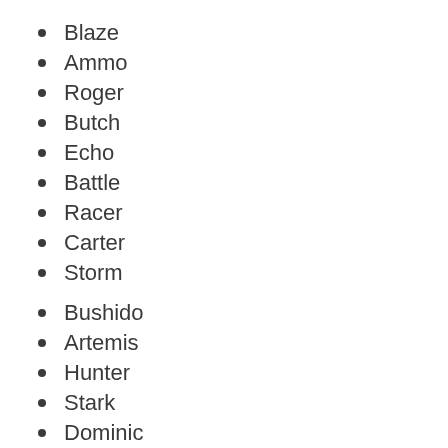Blaze
Ammo
Roger
Butch
Echo
Battle
Racer
Carter
Storm
Bushido
Artemis
Hunter
Stark
Dominic
Diesel